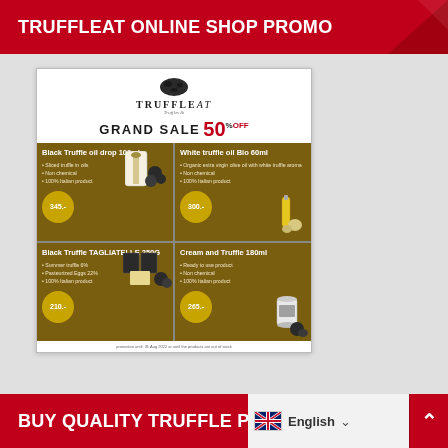TRUFFLEAT ONLINE SHOP PROMO
[Figure (infographic): Truffleat Grand Sale 50% off promotional flyer showing four products: Black Truffle oil drop 100ml (345.-), White truffle oil Bio 60ml (300.-), Black Truffle TAGLIATELLE 250G (210.-), Cream and Truffle 180ml (265.-). Products displayed in brown grid with prices in circular badges.]
BUY QUALITY TRUFFLE P...  English